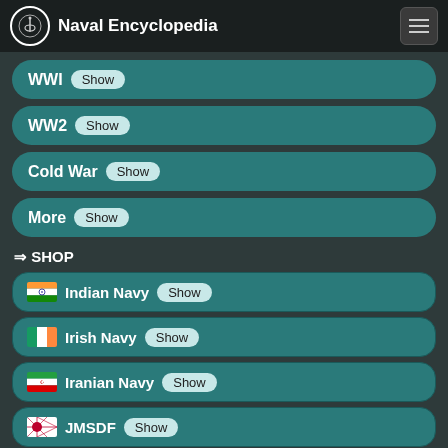Naval Encyclopedia
WWI Show
WW2 Show
Cold War Show
More Show
⇒ SHOP
Indian Navy Show
Irish Navy Show
Iranian Navy Show
JMSDF Show